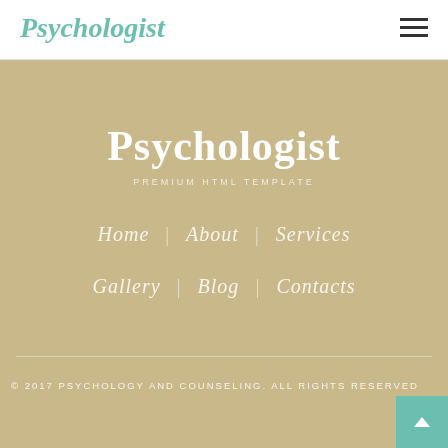Psychologist
Psychologist
PREMIUM HTML TEMPLATE
Home | About | Services
Gallery | Blog | Contacts
© 2017 PSYCHOLOGY AND COUNSELING. ALL RIGHTS RESERVED